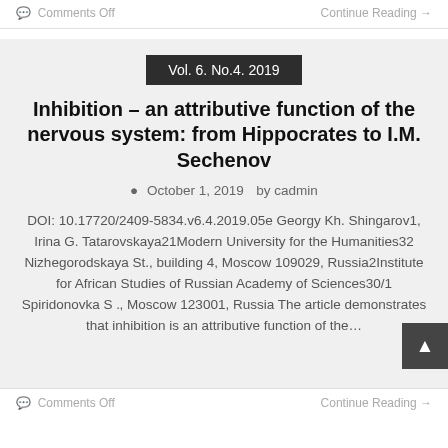Comments Off   Continue Reading →
Vol. 6. No.4. 2019
Inhibition – an attributive function of the nervous system: from Hippocrates to I.M. Sechenov
October 1, 2019   by cadmin
DOI: 10.17720/2409-5834.v6.4.2019.05e Georgy Kh. Shingarov1, Irina G. Tatarovskaya21Modern University for the Humanities32 Nizhegorodskaya St., building 4, Moscow 109029, Russia2Institute for African Studies of Russian Academy of Sciences30/1 Spiridonovka St., Moscow 123001, Russia The article demonstrates that inhibition is an attributive function of the…
Comments Off   Continue Reading →